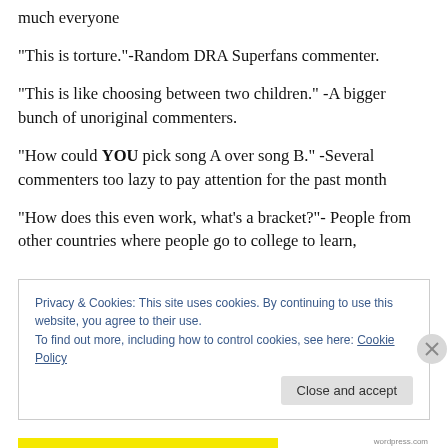much everyone
“This is torture.”-Random DRA Superfans commenter.
“This is like choosing between two children.” -A bigger bunch of unoriginal commenters.
“How could YOU pick song A over song B.” -Several commenters too lazy to pay attention for the past month
“How does this even work, what’s a bracket?”- People from other countries where people go to college to learn,
Privacy & Cookies: This site uses cookies. By continuing to use this website, you agree to their use.
To find out more, including how to control cookies, see here: Cookie Policy
Close and accept